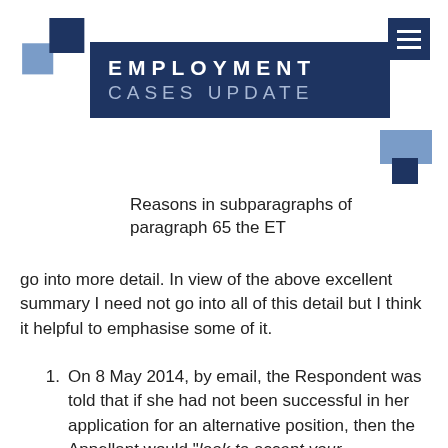[Figure (logo): Employment Cases Update logo with dark blue and light blue squares and title banner]
Reasons in subparagraphs of paragraph 65 the ET
go into more detail. In view of the above excellent summary I need not go into all of this detail but I think it helpful to emphasise some of it.
On 8 May 2014, by email, the Respondent was told that if she had not been successful in her application for an alternative position, then the Appellant would "look to accept your resignation". The ET regarded this as "a reasonable view, reasonably